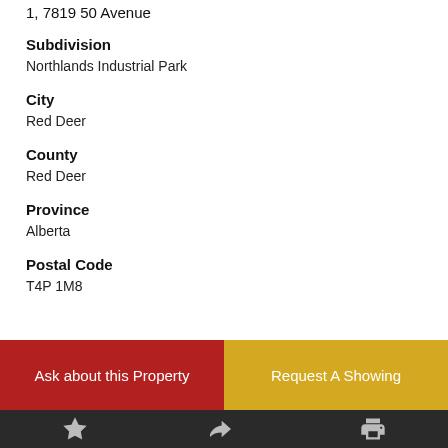1, 7819 50 Avenue
Subdivision
Northlands Industrial Park
City
Red Deer
County
Red Deer
Province
Alberta
Postal Code
T4P 1M8
Ask about this Property
Request A Showing